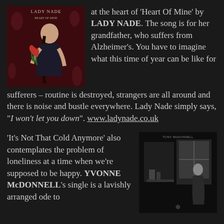[Figure (photo): Album cover for Lady Nade showing a woman in a dark dress holding red tulips against a dark red background]
at the heart of ‘Heart Of Mine’ by LADY NADE. The song is for her grandfather, who suffers from Alzheimer’s. You have to imagine what this time of year can be like for sufferers – routine is destroyed, strangers are all around and there is noise and bustle everywhere. Lady Nade simply says, “I won’t let you down”. www.ladynade.co.uk
‘It’s Not That Cold Anymore’ also contemplates the problem of loneliness at a time when we’re supposed to be happy. YVONNE McDONNELL’s single is a lavishly arranged ode to
[Figure (photo): Black and white photo of a woman in a dark setting, appears to be an album cover for Yvonne McDonnell]